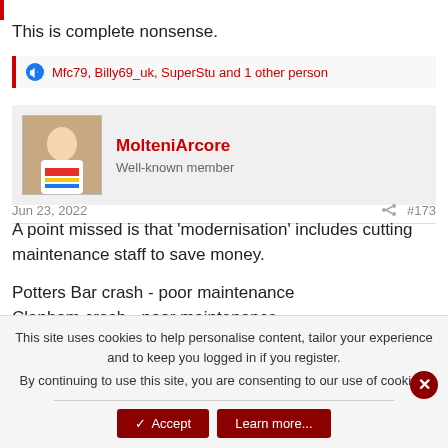This is complete nonsense.
Mfc79, Billy69_uk, SuperStu and 1 other person
MolteniArcore
Well-known member
Jun 23, 2022  #173
A point missed is that 'modernisation' includes cutting maintenance staff to save money.

Potters Bar crash - poor maintenance
Clapham crash - poor maintenance
This site uses cookies to help personalise content, tailor your experience and to keep you logged in if you register.
By continuing to use this site, you are consenting to our use of cookies.